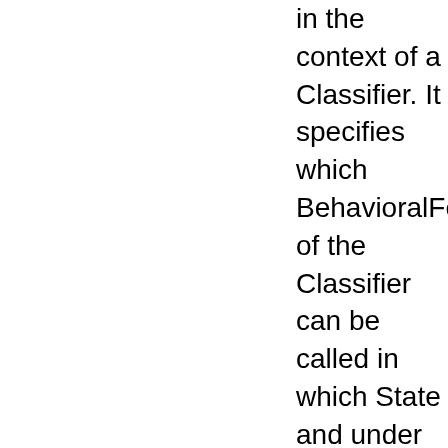in the context of a Classifier. It specifies which BehavioralFeatures of the Classifier can be called in which State and under which conditions, thus specifying the allowed invocation sequences on the Classifier's BehavioralFeatures. A ProtocolStateMachine specifies the possible and